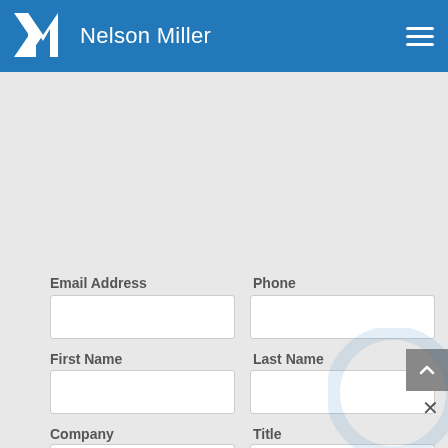Nelson Miller
Email Address
Phone
First Name
Last Name
Company
Title